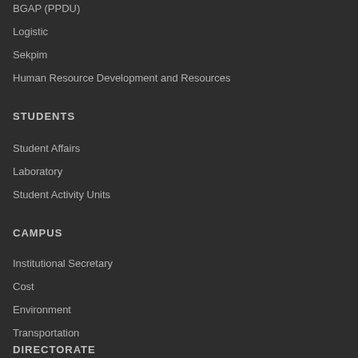BGAP (PPDU)
Logistic
Sekpim
Human Resource Development and Resources
STUDENTS
Student Affairs
Laboratory
Student Activity Units
CAMPUS
Institutional Secretary
Cost
Environment
Transportation
DIRECTORATE